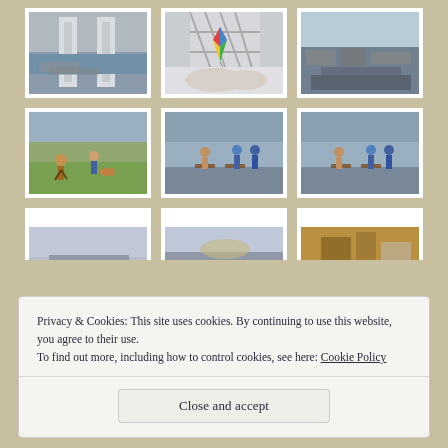[Figure (photo): Grid of thumbnail photos on a tan/beige background showing port/harbor scenes and people on grass. Row 1: architectural structure with sea view, colorful kite on ship hull, aerial port view. Row 2: woman walking on grass with dog and man, two people viewed from behind at benches with port, similar scene. Row 3 (partial): cloudy sky scenes and golden detail.]
Privacy & Cookies: This site uses cookies. By continuing to use this website, you agree to their use.
To find out more, including how to control cookies, see here: Cookie Policy
Close and accept